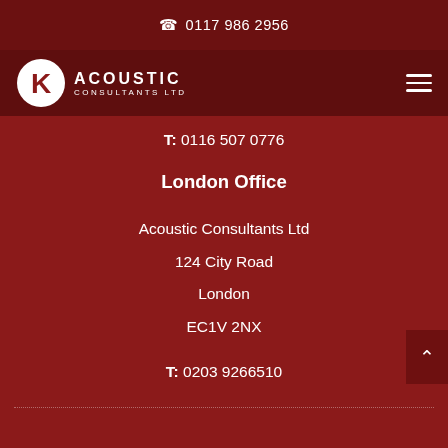☎ 0117 986 2956
[Figure (logo): K Acoustic Consultants Ltd logo with circular K emblem and text]
T: 0116 507 0776
London Office
Acoustic Consultants Ltd
124 City Road
London
EC1V 2NX
T: 0203 9266510